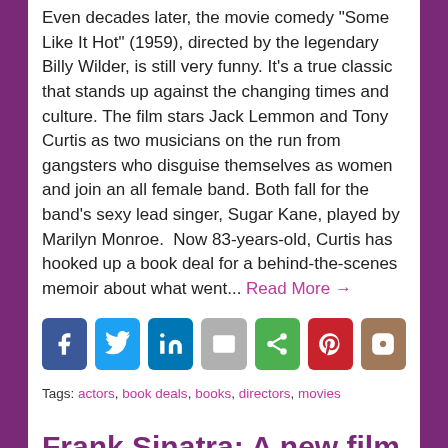Even decades later, the movie comedy “Some Like It Hot” (1959), directed by the legendary Billy Wilder, is still very funny. It’s a true classic that stands up against the changing times and culture. The film stars Jack Lemmon and Tony Curtis as two musicians on the run from gangsters who disguise themselves as women and join an all female band. Both fall for the band’s sexy lead singer, Sugar Kane, played by Marilyn Monroe.  Now 83-years-old, Curtis has hooked up a book deal for a behind-the-scenes memoir about what went... Read More →
[Figure (infographic): Row of 7 social media sharing icon buttons: Facebook (blue), Twitter (light blue), LinkedIn (dark blue), Email (gray), Share (green), Pinterest (red), Instagram (tan/brown)]
Tags: actors, book deals, books, directors, movies
Frank Sinatra: A new film and book
by Frannie Lewin on Saturday, May 16, 2009